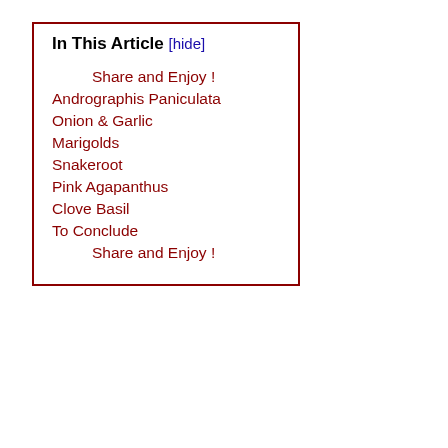In This Article [hide]
Share and Enjoy !
Andrographis Paniculata
Onion & Garlic
Marigolds
Snakeroot
Pink Agapanthus
Clove Basil
To Conclude
Share and Enjoy !